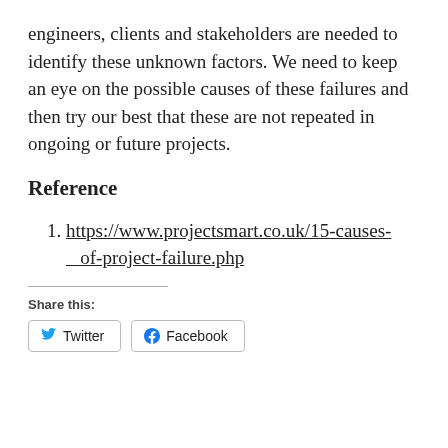engineers, clients and stakeholders are needed to identify these unknown factors. We need to keep an eye on the possible causes of these failures and then try our best that these are not repeated in ongoing or future projects.
Reference
https://www.projectsmart.co.uk/15-causes-of-project-failure.php
Share this:
Twitter  Facebook